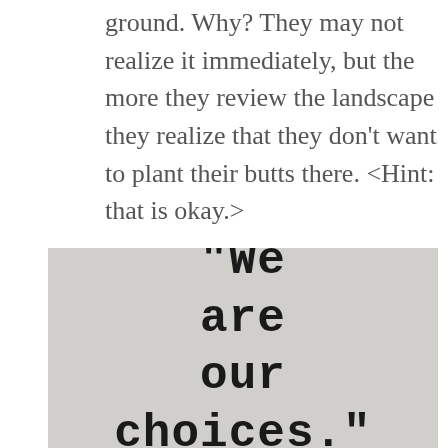ground. Why? They may not realize it immediately, but the more they review the landscape they realize that they don't want to plant their butts there. <Hint: that is okay.>
[Figure (illustration): Grainy textured background image with bold typewriter-style text reading: "We are our choices."]